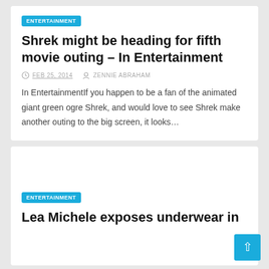ENTERTAINMENT
Shrek might be heading for fifth movie outing – In Entertainment
FEB 25, 2014   ZENNIE ABRAHAM
In EntertainmentIf you happen to be a fan of the animated giant green ogre Shrek, and would love to see Shrek make another outing to the big screen, it looks…
ENTERTAINMENT
Lea Michele exposes underwear in